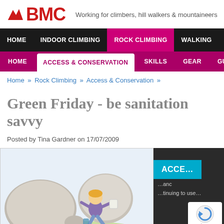[Figure (logo): BMC logo with red mountain/arrow icon and red BMC text, with tagline 'Working for climbers, hill walkers & mountaineers']
HOME  INDOOR CLIMBING  ROCK CLIMBING  WALKING  MOUNTAINEERING
HOME  ACCESS & CONSERVATION  SKILLS  GEAR  GUIDEBOOKS
Home » Rock Climbing » Access & Conservation »
Green Friday - be sanitation savvy
Posted by Tina Gardner on 17/07/2009
[Figure (illustration): Cartoon illustration of a child running away from large boulders outdoors on grass, carrying toilet paper]